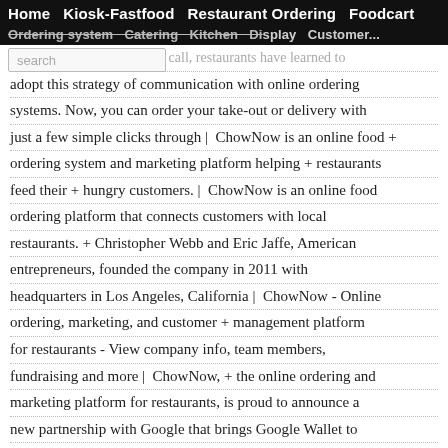Home  Kiosk-Fastfood  Restaurant Ordering  Foodcart
Ordering system  Catering  Kitchen  Display  Customer...
being able to text instead of call, restaurants have learned to adopt this strategy of communication with online ordering systems. Now, you can order your take-out or delivery with just a few simple clicks through | ChowNow is an online food + ordering system and marketing platform helping + restaurants feed their + hungry customers. | ChowNow is an online food ordering platform that connects customers with local restaurants. + Christopher Webb and Eric Jaffe, American entrepreneurs, founded the company in 2011 with headquarters in Los Angeles, California | ChowNow - Online ordering, marketing, and customer + management platform for restaurants - View company info, team members, fundraising and more | ChowNow, + the online ordering and marketing platform for restaurants, is proud to announce a new partnership with Google that brings Google Wallet to thousands of independent restaurants across the United